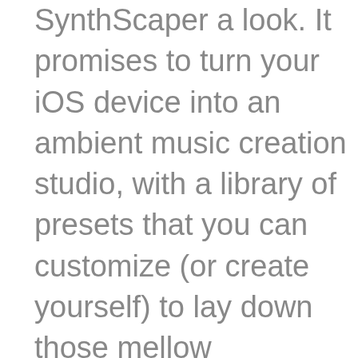SynthScaper a look. It promises to turn your iOS device into an ambient music creation studio, with a library of presets that you can customize (or create yourself) to lay down those mellow soundscapes on the go.